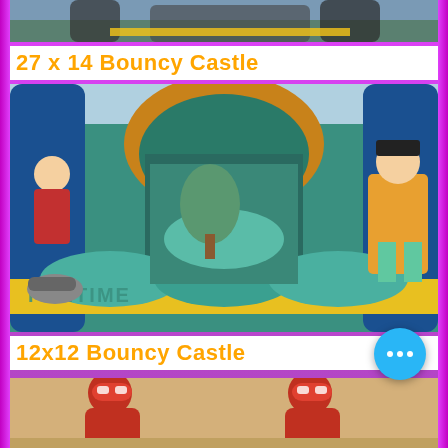[Figure (photo): Partial top view of an inflatable bouncy castle with bright colors, cropped at top of page]
27 x 14 Bouncy Castle
[Figure (photo): Close-up photo of a large inflatable bouncy castle with blue, teal and yellow colors, pirate theme with cartoon characters, branded 'FUNTIME' on the front]
12x12 Bouncy Castle
[Figure (photo): Bottom portion of a bouncy castle with cartoon racing car or animal characters, partially visible, cropped at bottom of page]